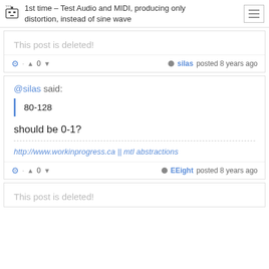1st time – Test Audio and MIDI, producing only distortion, instead of sine wave
This post is deleted!
⚙ · ▲ 0 ▼   silas posted 8 years ago
@silas said:
80-128
should be 0-1?
http://www.workinprogress.ca || mtl abstractions
⚙ · ▲ 0 ▼   EEight posted 8 years ago
This post is deleted!